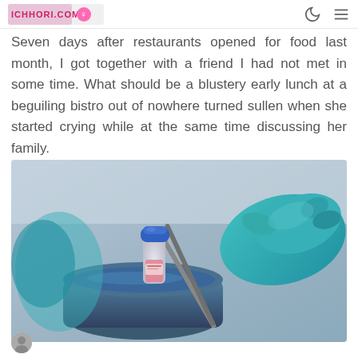ichhori.com
Seven days after restaurants opened for food last month, I got together with a friend I had not met in some time. What should be a blustery early lunch at a beguiling bistro out of nowhere turned sullen when she started crying while at the same time discussing her family.
[Figure (photo): A gloved hand (blue latex glove) holding tweezers/tongs gripping a small laboratory vial with a blue cap and pinkish liquid, being placed into or removed from a container with a dark/blue substance, likely liquid nitrogen or similar cryogenic material. Science/medical laboratory setting.]